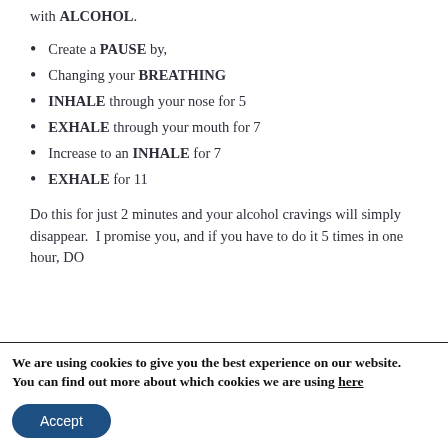...with ALCOHOL.
Create a PAUSE by,
Changing your BREATHING
INHALE through your nose for 5
EXHALE through your mouth for 7
Increase to an INHALE for 7
EXHAALE for 11
Do this for just 2 minutes and your alcohol cravings will simply disappear.  I promise you, and if you have to do it 5 times in one hour, DO
We are using cookies to give you the best experience on our website.
You can find out more about which cookies we are using here